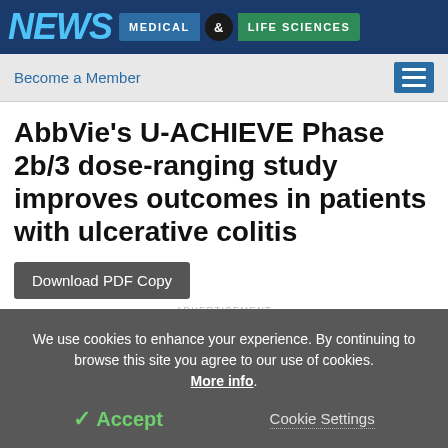NEWS MEDICAL & LIFE SCIENCES
Become a Member
AbbVie's U-ACHIEVE Phase 2b/3 dose-ranging study improves outcomes in patients with ulcerative colitis
Download PDF Copy
ADVERTISEMENT
We use cookies to enhance your experience. By continuing to browse this site you agree to our use of cookies. More info.
✓ Accept
Cookie Settings